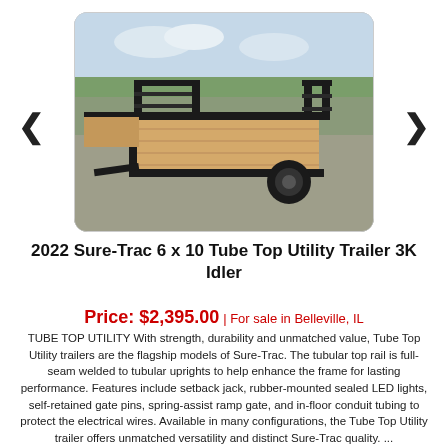[Figure (photo): Photo of a 2022 Sure-Trac 6x10 Tube Top Utility Trailer 3K Idler with black steel frame and wooden deck floor, parked in an outdoor lot with grass and trees in the background.]
2022 Sure-Trac 6 x 10 Tube Top Utility Trailer 3K Idler
Price: $2,395.00 | For sale in Belleville, IL
TUBE TOP UTILITY With strength, durability and unmatched value, Tube Top Utility trailers are the flagship models of Sure-Trac. The tubular top rail is full-seam welded to tubular uprights to help enhance the frame for lasting performance. Features include setback jack, rubber-mounted sealed LED lights, self-retained gate pins, spring-assist ramp gate, and in-floor conduit tubing to protect the electrical wires. Available in many configurations, the Tube Top Utility trailer offers unmatched versatility and distinct Sure-Trac quality. ...